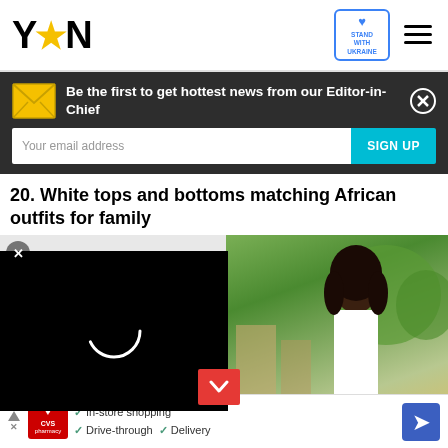YEN logo, Stand with Ukraine badge, hamburger menu
Be the first to get hottest news from our Editor-in-Chief
20. White tops and bottoms matching African outfits for family
[Figure (photo): Woman in white outfit standing outdoors, with a video player overlay on the left side showing a loading spinner]
In-store shopping  Drive-through  Delivery  (CVS Pharmacy ad)